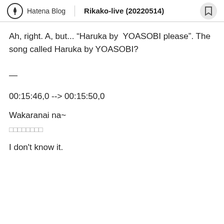Hatena Blog | Rikako-live (20220514)
Ah, right. A, but... “Haruka by  YOASOBI please”. The song called Haruka by YOASOBI?
—
00:15:46,0 --> 00:15:50,0
Wakaranai na~
□□□□□□□□
I don't know it.